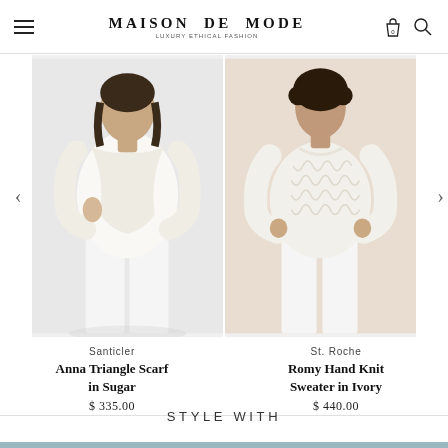MAISON DE MODE — LUXURY ETHICAL FASHION
[Figure (photo): Woman wearing Anna Triangle Scarf in Sugar (ivory/white) by Santicler, with white pants, on light background. Carousel navigation arrows visible on sides.]
[Figure (photo): Woman wearing Romy Hand Knit Sweater in Ivory by St. Roche, with white pants, on beige background.]
Santicler
Anna Triangle Scarf in Sugar
$ 335.00
St. Roche
Romy Hand Knit Sweater in Ivory
$ 440.00
STYLE WITH